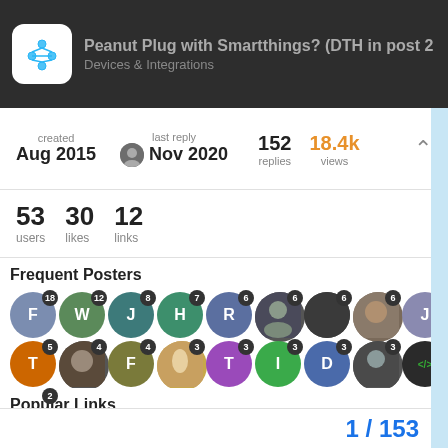Peanut Plug with Smartthings? (DTH in post 2) · Devices & Integrations
created Aug 2015  last reply Nov 2020  152 replies  18.4k views
53 users  30 likes  12 links
Frequent Posters
[Figure (infographic): Grid of user avatar circles with post count badges. Row 1: F(18), W(12), J(8), H(7), R(6), photo(6), photo(6), photo(6), J(5). Row 2: T(5), photo(4), F(4), photo(3), T(3), I(3), D(3), photo(3), code(2), code(2). Row 3: photo+code(2), empty(2), P(2), M(2).]
Popular Links
407  Securifi Peanut Plug - (1 Minute Setup) - Smart Plug ; Remotely control lights applia...  amazon.com
375  smartthings-peanut-plug/peanut-plu master · pakmanwg/smartthings-pe
1 / 153